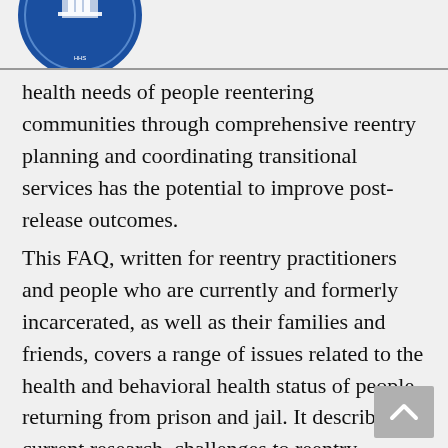[Figure (logo): Partial blue circular logo/seal in top-left corner]
health needs of people reentering communities through comprehensive reentry planning and coordinating transitional services has the potential to improve post-release outcomes.
This FAQ, written for reentry practitioners and people who are currently and formerly incarcerated, as well as their families and friends, covers a range of issues related to the health and behavioral health status of people returning from prison and jail. It describes current research, challenges to reentry presented by health and behavioral health needs, the importance of continuity of care and linkages to federal